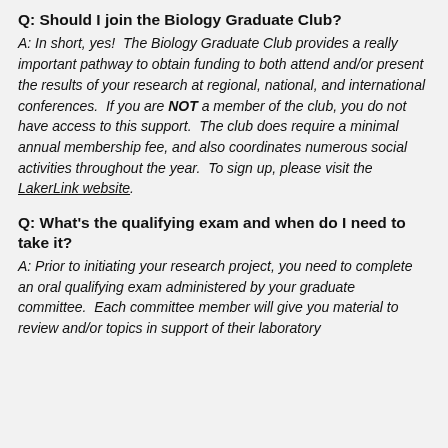Q: Should I join the Biology Graduate Club?
A: In short, yes!  The Biology Graduate Club provides a really important pathway to obtain funding to both attend and/or present the results of your research at regional, national, and international conferences.  If you are NOT a member of the club, you do not have access to this support.  The club does require a minimal annual membership fee, and also coordinates numerous social activities throughout the year.  To sign up, please visit the LakerLink website.
Q: What's the qualifying exam and when do I need to take it?
A: Prior to initiating your research project, you need to complete an oral qualifying exam administered by your graduate committee.  Each committee member will give you material to review and/or topics in support of their laboratory...